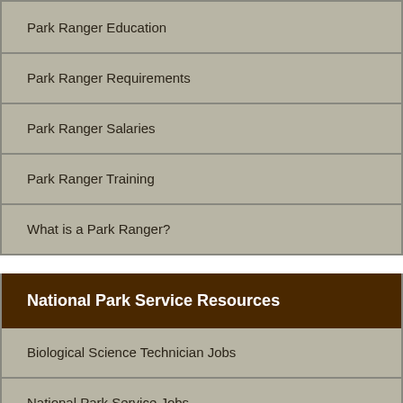Park Ranger Education
Park Ranger Requirements
Park Ranger Salaries
Park Ranger Training
What is a Park Ranger?
National Park Service Resources
Biological Science Technician Jobs
National Park Service Jobs